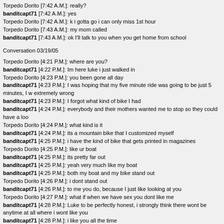Torpedo Dorito [7:42 A.M.]: really?
banditcapt71 [7:42 A.M.]: yes
Torpedo Dorito [7:42 A.M.]: k i gotta go i can only miss 1st hour
Torpedo Dorito [7:43 A.M.]: my mom called
banditcapt71 [7:43 A.M.]: ok I'll talk to you when you get home from school
Conversation 03/19/05
Torpedo Dorito [4:21 P.M.]: where are you?
banditcapt71 [4:22 P.M.]: Im here luke i just walked in
Torpedo Dorito [4:23 P.M.]: you been gone all day
banditcapt71 [4:23 P.M.]: I was hoping that my five minute ride was going to be just 5 minutes, I w extremely wrong
banditcapt71 [4:23 P.M.]: I forgot what kind of bike I had
banditcapt71 [4:24 P.M.]: everybody and their mothers wanted me to stop so they could have a loo
Torpedo Dorito [4:24 P.M.]: what kind is it
banditcapt71 [4:24 P.M.]: its a mountain bike that I customized myself
banditcapt71 [4:25 P.M.]: i have the kind of bike that gets printed in magazines
Torpedo Dorito [4:25 P.M.]: like ur boat
banditcapt71 [4:25 P.M.]: its pretty far out
banditcapt71 [4:25 P.M.]: yeah very much like my boat
banditcapt71 [4:25 P.M.]: both my boat and my bike stand out
Torpedo Dorito [4:26 P.M.]: i dont stand out
banditcapt71 [4:26 P.M.]: to me you do, because I just like looking at you
Torpedo Dorito [4:27 P.M.]: what if when we have sex you dont like me
banditcapt71 [4:28 P.M.]: Luke to be perfectly honest, i strongly think there wont be anytime at all where i wont like you
banditcapt71 [4:28 P.M.]: i like you all the time
banditcapt71 [4:29 P.M.]: not some of the time and im not interested in you for your body or for se dont get me wrong its all very good but i see you as more than that
banditcapt71 [4:29 P.M.]: you're a beautiful Person luke
Torpedo Dorito [4:30 P.M.]: but being a boyfriend the sex is the best part
banditcapt71 [4:30 P.M.]: i like to think the passion towards one another is, but sex ranks up there n
banditcapt71 [4:32 P.M.]: allow me to give you an Idea, as to where im coming from with that, whe you called me up Luke, and i got to hear your voice its like time stood still for me because i really lo what I heard, i think you have a beautiful voice
Torpedo Dorito [4:32 P.M.]: ok
banditcapt71 [4:33 P.M.]: so from the last time we talked, I asked you a question that I dont think